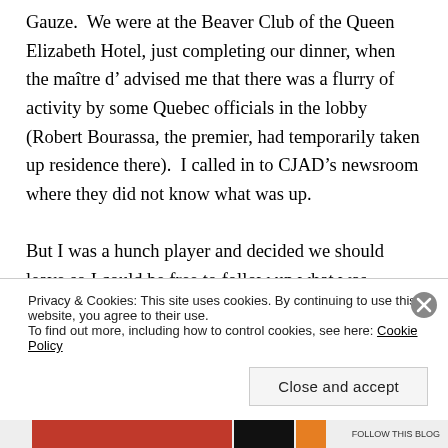Gauze.  We were at the Beaver Club of the Queen Elizabeth Hotel, just completing our dinner, when the maître d' advised me that there was a flurry of activity by some Quebec officials in the lobby (Robert Bourassa, the premier, had temporarily taken up residence there).  I called in to CJAD's newsroom where they did not know what was up.

But I was a hunch player and decided we should leave so I could be free to follow up what was happening.  Driving from the Queen E. to my home in Town of
Privacy & Cookies: This site uses cookies. By continuing to use this website, you agree to their use.
To find out more, including how to control cookies, see here: Cookie Policy
Close and accept